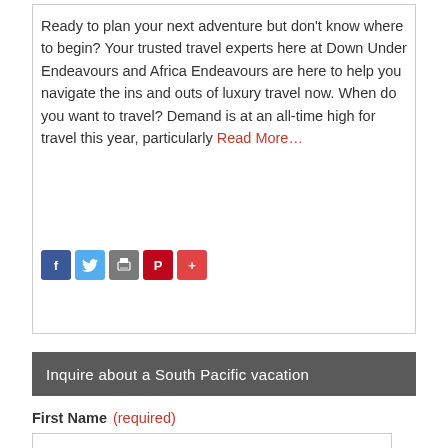Ready to plan your next adventure but don't know where to begin? Your trusted travel experts here at Down Under Endeavours and Africa Endeavours are here to help you navigate the ins and outs of luxury travel now. When do you want to travel? Demand is at an all-time high for travel this year, particularly Read More…
[Figure (other): Social share buttons: Facebook (blue), Twitter (light blue), Print (grey), Pinterest (red), More/Plus (red)]
Inquire about a South Pacific vacation
First Name (required)